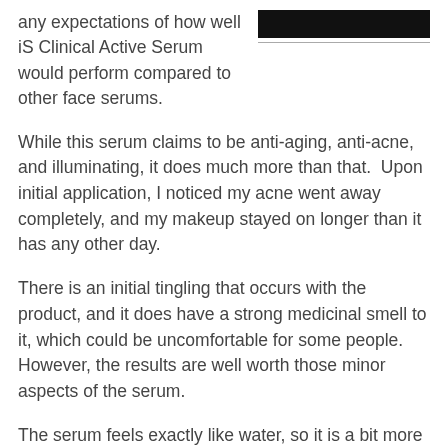any expectations of how well iS Clinical Active Serum would perform compared to other face serums.
[Figure (other): Black redacted bar in top right corner with a horizontal divider line below it]
While this serum claims to be anti-aging, anti-acne, and illuminating, it does much more than that.  Upon initial application, I noticed my acne went away completely, and my makeup stayed on longer than it has any other day.
There is an initial tingling that occurs with the product, and it does have a strong medicinal smell to it, which could be uncomfortable for some people.  However, the results are well worth those minor aspects of the serum.
The serum feels exactly like water, so it is a bit more difficult to apply to your face and neck, but it is very